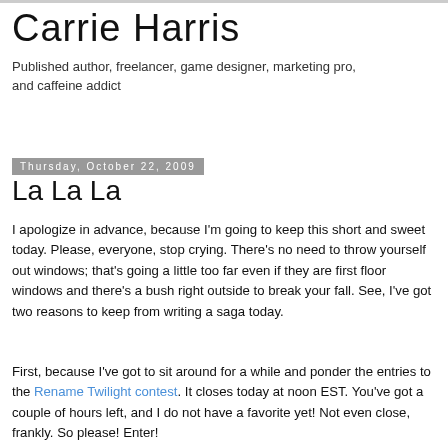Carrie Harris
Published author, freelancer, game designer, marketing pro, and caffeine addict
Thursday, October 22, 2009
La La La
I apologize in advance, because I'm going to keep this short and sweet today. Please, everyone, stop crying. There's no need to throw yourself out windows; that's going a little too far even if they are first floor windows and there's a bush right outside to break your fall. See, I've got two reasons to keep from writing a saga today.
First, because I've got to sit around for a while and ponder the entries to the Rename Twilight contest. It closes today at noon EST. You've got a couple of hours left, and I do not have a favorite yet! Not even close, frankly. So please! Enter!